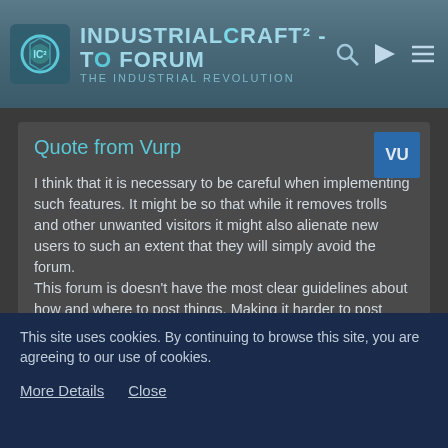IndustrialCraft² - The Forum · The Industrial Revolution
Quote from Vurp
I think that it is necessary to be careful when implementing such features. It might be so that while it removes trolls and other unwanted visitors it might also alienate new users to such an extent that they will simply avoid the forum.
This forum is doesn't have the most clear guidelines about how and where to post things. Making it harder to post wont make things better, at least not in the long run.
I disagree. All this will/should do is prevent n00bs from spamming the Suggestions forum with LIGHTNING
This site uses cookies. By continuing to browse this site, you are agreeing to our use of cookies.